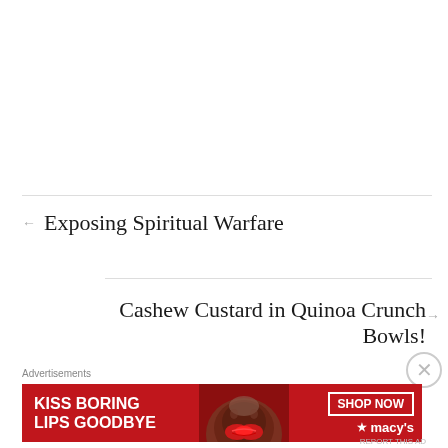← Exposing Spiritual Warfare
Cashew Custard in Quinoa Crunch Bowls! →
Advertisements
[Figure (photo): Macy's advertisement banner with red background, woman's face with red lips, text reading 'KISS BORING LIPS GOODBYE', 'SHOP NOW' button, and Macy's star logo]